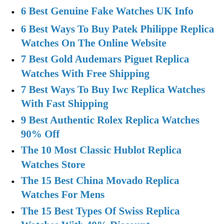6 Best Genuine Fake Watches UK Info
6 Best Ways To Buy Patek Philippe Replica Watches On The Online Website
7 Best Gold Audemars Piguet Replica Watches With Free Shipping
7 Best Ways To Buy Iwc Replica Watches With Fast Shipping
9 Best Authentic Rolex Replica Watches 90% Off
The 10 Most Classic Hublot Replica Watches Store
The 15 Best China Movado Replica Watches For Mens
The 15 Best Types Of Swiss Replica Watches With 40% Discount
The 15 Most Classic Omega Replica Watches On Our Website